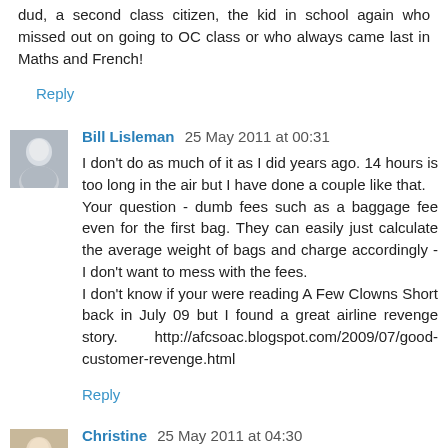dud, a second class citizen, the kid in school again who missed out on going to OC class or who always came last in Maths and French!
Reply
Bill Lisleman  25 May 2011 at 00:31
I don't do as much of it as I did years ago. 14 hours is too long in the air but I have done a couple like that.
Your question - dumb fees such as a baggage fee even for the first bag. They can easily just calculate the average weight of bags and charge accordingly - I don't want to mess with the fees.
I don't know if your were reading A Few Clowns Short back in July 09 but I found a great airline revenge story. http://afcsoac.blogspot.com/2009/07/good-customer-revenge.html
Reply
Christine  25 May 2011 at 04:30